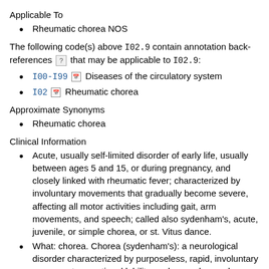Applicable To
Rheumatic chorea NOS
The following code(s) above I02.9 contain annotation back-references [?] that may be applicable to I02.9:
I00-I99  Diseases of the circulatory system
I02  Rheumatic chorea
Approximate Synonyms
Rheumatic chorea
Clinical Information
Acute, usually self-limited disorder of early life, usually between ages 5 and 15, or during pregnancy, and closely linked with rheumatic fever; characterized by involuntary movements that gradually become severe, affecting all motor activities including gait, arm movements, and speech; called also sydenham's, acute, juvenile, or simple chorea, or st. Vitus dance.
What: chorea. Chorea (sydenham's): a neurological disorder characterized by purposeless, rapid, involuntary movements, emotional lability, and muscular weakness. Why: sydenham's chorea is seen in rheumatic fever. The chorea may be associated with other rheumatic manifestations or it may present as the sole expression of rheumatic fever. How: typically, the onset of chorea is